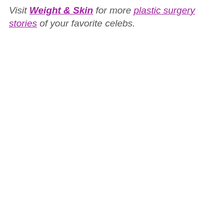Visit Weight & Skin for more plastic surgery stories of your favorite celebs.